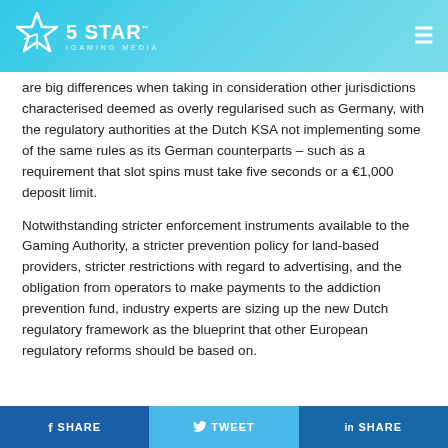5 STAR IGAMING MEDIA
are big differences when taking in consideration other jurisdictions characterised deemed as overly regularised such as Germany, with the regulatory authorities at the Dutch KSA not implementing some of the same rules as its German counterparts – such as a requirement that slot spins must take five seconds or a €1,000 deposit limit.
Notwithstanding stricter enforcement instruments available to the Gaming Authority, a stricter prevention policy for land-based providers, stricter restrictions with regard to advertising, and the obligation from operators to make payments to the addiction prevention fund, industry experts are sizing up the new Dutch regulatory framework as the blueprint that other European regulatory reforms should be based on.
f SHARE   TWEET   in SHARE